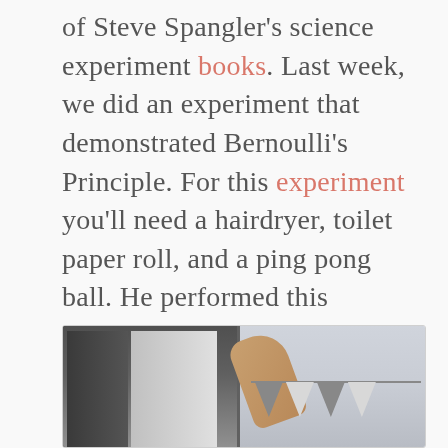of Steve Spangler's science experiment books. Last week, we did an experiment that demonstrated Bernoulli's Principle. For this experiment you'll need a hairdryer, toilet paper roll, and a ping pong ball. He performed this experiment on the Ellen Show. My children loved doing it over and over. I think it really did help them understand the idea of lift that makes an airplane able to fly.
[Figure (photo): Two-panel photograph showing children performing a science experiment, likely the Bernoulli's Principle demonstration with a hairdryer and ping pong ball. Left panel shows indoor setup with blinds/window in background, right panel shows a hand holding what appears to be paper banners or flags near a window.]